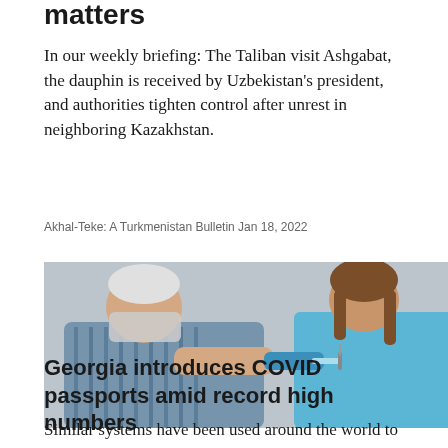matters
In our weekly briefing: The Taliban visit Ashgabat, the dauphin is received by Uzbekistan's president, and authorities tighten control after unrest in neighboring Kazakhstan.
Akhal-Teke: A Turkmenistan Bulletin Jan 18, 2022
[Figure (photo): An elderly man with a face mask pulled down receives a vaccine injection in his upper arm from a healthcare worker in blue scrubs and blue gloves.]
Georgia introduces COVID passports amid record high numbers
Similar systems have been used around the world to